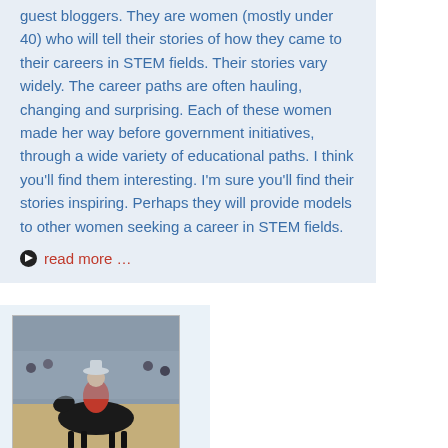guest bloggers. They are women (mostly under 40) who will tell their stories of how they came to their careers in STEM fields. Their stories vary widely. The career paths are often hauling, changing and surprising. Each of these women made her way before government initiatives, through a wide variety of educational paths. I think you'll find them interesting. I'm sure you'll find their stories inspiring. Perhaps they will provide models to other women seeking a career in STEM fields.
read more …
[Figure (photo): Person riding a horse, wearing a red jacket and hat]
Pat Maykuth
5.21.2014
0